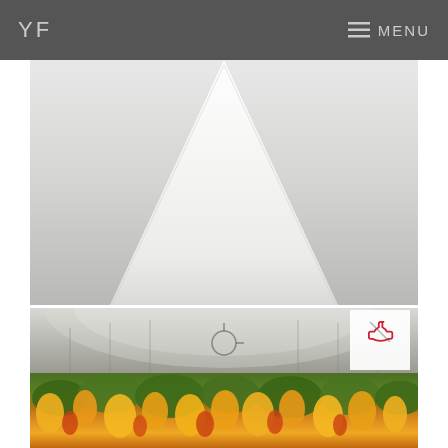YF  MENU
[Figure (photo): White tent/canopy structure photographed from below against a light gray background, inside a greenhouse]
[Figure (photo): Interior of a large greenhouse with arched white plastic roof and ventilation fans, in the foreground a dense field of yellow and orange calla lily flowers with green foliage. A small phone/contact icon overlay appears in the upper right corner of the image.]